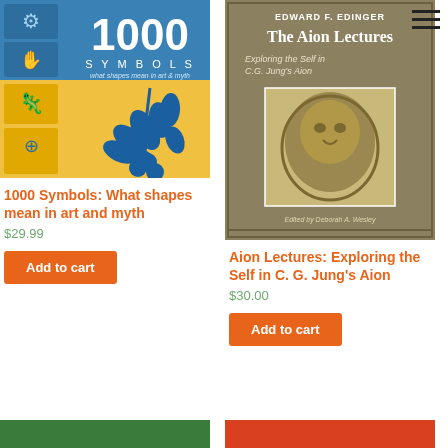[Figure (illustration): Book cover: 1000 Symbols: What shapes mean in art and myth. Blue and yellow cover with symbolic icons and a blue leaf/olive branch design.]
1000 Symbols: What shapes mean in art and myth
$29.99
Add to cart
[Figure (illustration): Book cover: The Aion Lectures by Edward F. Edinger. Olive/brown cover with a sculptural lion image and subtitle 'Exploring the Self in C.G. Jung's Aion'. Edited by Deborah A. Wesley.]
Aion Lectures: Exploring the Self in C. G. Jung's Aion
$30.00
Add to cart
[Figure (illustration): Partial view of a green book cover at the bottom left.]
[Figure (illustration): Partial view of a red/orange book cover at the bottom right.]